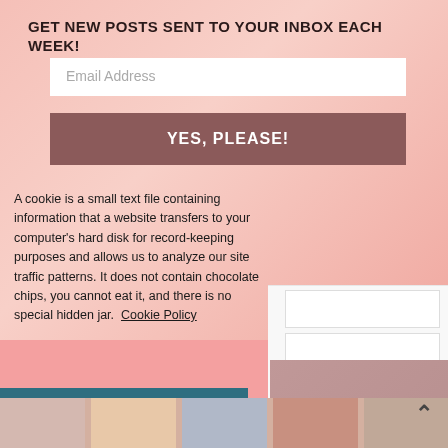GET NEW POSTS SENT TO YOUR INBOX EACH WEEK!
Email Address
YES, PLEASE!
A cookie is a small text file containing information that a website transfers to your computer's hard disk for record-keeping purposes and allows us to analyze our site traffic patterns. It does not contain chocolate chips, you cannot eat it, and there is no special hidden jar.  Cookie Policy
Got it!